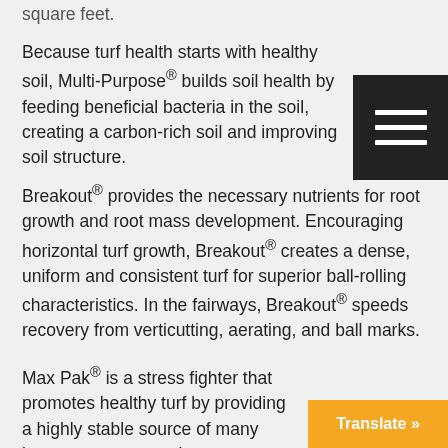square feet.
Because turf health starts with healthy soil, Multi-Purpose® builds soil health by feeding beneficial bacteria in the soil, creating a carbon-rich soil and improving soil structure.
Breakout® provides the necessary nutrients for root growth and root mass development. Encouraging horizontal turf growth, Breakout® creates a dense, uniform and consistent turf for superior ball-rolling characteristics. In the fairways, Breakout® speeds recovery from verticutting, aerating, and ball marks.
Max Pak® is a stress fighter that promotes healthy turf by providing a highly stable source of many important macronutrients to ensure maximum absorption of nutrients.